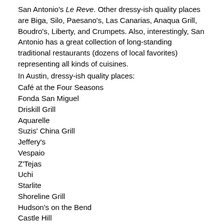San Antonio's Le Reve. Other dressy-ish quality places are Biga, Silo, Paesano's, Las Canarias, Anaqua Grill, Boudro's, Liberty, and Crumpets. Also, interestingly, San Antonio has a great collection of long-standing traditional restaurants (dozens of local favorites) representing all kinds of cuisines.
In Austin, dressy-ish quality places:
Café at the Four Seasons
Fonda San Miguel
Driskill Grill
Aquarelle
Suzis' China Grill
Jeffery's
Vespaio
Z'Tejas
Uchi
Starlite
Shoreline Grill
Hudson's on the Bend
Castle Hill
Wink
... and, Amy's Ice Cream 🙂
Caveat: if you come to SA/Austin and do NOT eat at a local Tex-